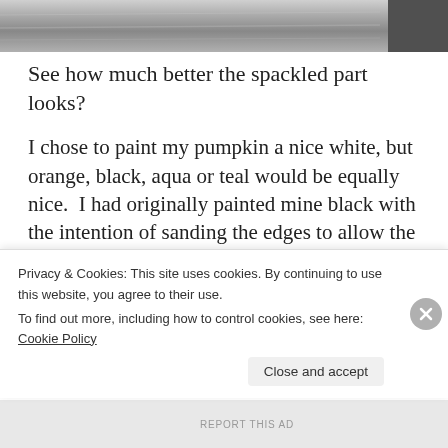[Figure (photo): Grayscale photo strip showing a textured surface, partially cropped at the top of the page]
See how much better the spackled part looks?
I chose to paint my pumpkin a nice white, but orange, black, aqua or teal would be equally nice.  I had originally painted mine black with the intention of sanding the edges to allow the black to show through, but ended up liking the
Privacy & Cookies: This site uses cookies. By continuing to use this website, you agree to their use.
To find out more, including how to control cookies, see here: Cookie Policy
Close and accept
REPORT THIS AD